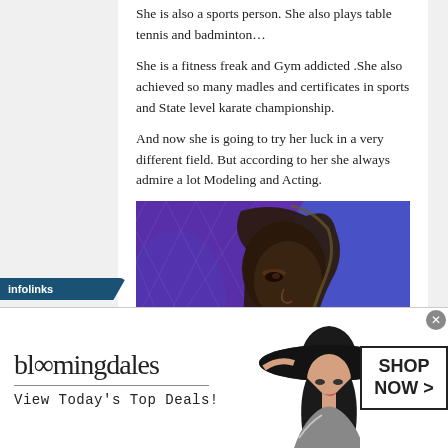She is also a sports person. She also plays table tennis and badminton… She is a fitness freak and Gym addicted .She also achieved so many madles and certificates in sports and State level karate championship. And now she is going to try her luck in a very different field. But according to her she always admire a lot Modeling and Acting.
[Figure (photo): A young woman with long hair photographed from a side/profile angle, against a purple background]
[Figure (infographic): Bloomingdale's advertisement banner: logo text 'bloomingdales', tagline 'View Today's Top Deals!', image of woman in wide-brim hat, 'SHOP NOW >' button]